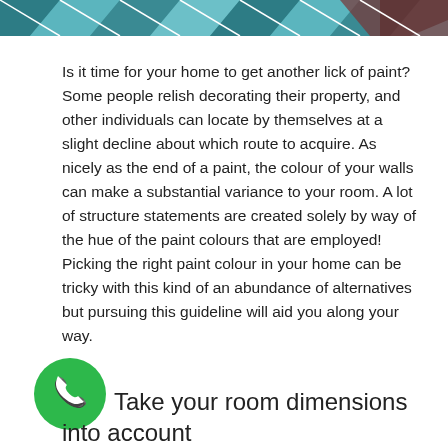[Figure (photo): Partial view of a decorative pattern with teal, white, and dark red/maroon geometric shapes at the top of the page]
Is it time for your home to get another lick of paint? Some people relish decorating their property, and other individuals can locate by themselves at a slight decline about which route to acquire. As nicely as the end of a paint, the colour of your walls can make a substantial variance to your room. A lot of structure statements are created solely by way of the hue of the paint colours that are employed! Picking the right paint colour in your home can be tricky with this kind of an abundance of alternatives but pursuing this guideline will aid you along your way.
[Figure (illustration): Green circular phone/call button icon with white telephone handset symbol]
Take your room dimensions into account